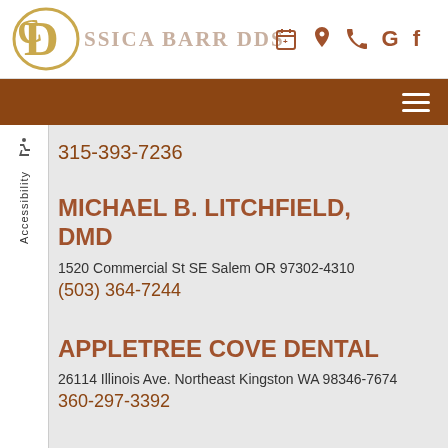JESSICA BARR DDS
315-393-7236
MICHAEL B. LITCHFIELD, DMD
1520 Commercial St SE Salem OR 97302-4310
(503) 364-7244
APPLETREE COVE DENTAL
26114 Illinois Ave. Northeast Kingston WA 98346-7674
360-297-3392
ROGUE VALLEY DENTAL